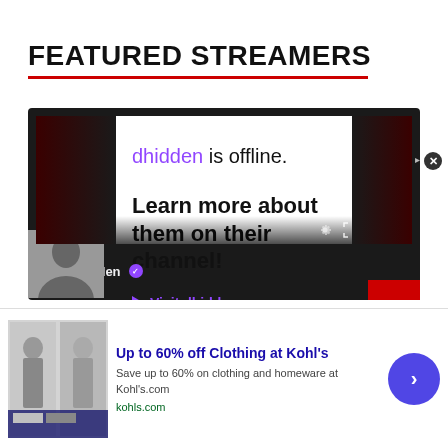FEATURED STREAMERS
[Figure (screenshot): Twitch embedded stream player showing 'dhidden is offline. Learn more about them on their channel! Visit dhidden' with Twitch logo and controls in the bottom bar. Below the player is a user bar with dhidden username and verified badge.]
[Figure (infographic): Advertisement banner: 'Up to 60% off Clothing at Kohl's' with subtext 'Save up to 60% on clothing and homeware at Kohl's.com' and url 'kohls.com'. Includes thumbnail image of people in clothing, and a blue circular CTA button with right arrow.]